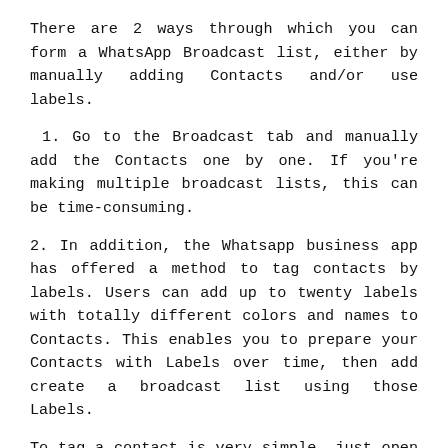There are 2 ways through which you can form a WhatsApp Broadcast list, either by manually adding Contacts and/or use labels.
1. Go to the Broadcast tab and manually add the Contacts one by one. If you're making multiple broadcast lists, this can be time-consuming.
2. In addition, the Whatsapp business app has offered a method to tag contacts by labels. Users can add up to twenty labels with totally different colors and names to Contacts. This enables you to prepare your Contacts with Labels over time, then add create a broadcast list using those Labels.
To tag a contact is very simple, just open a chat and use the action menu to label that chat. Labels are used for any purpose like marking chats that are customers or labeling Contacts supported the merchandise or services they're interested in.